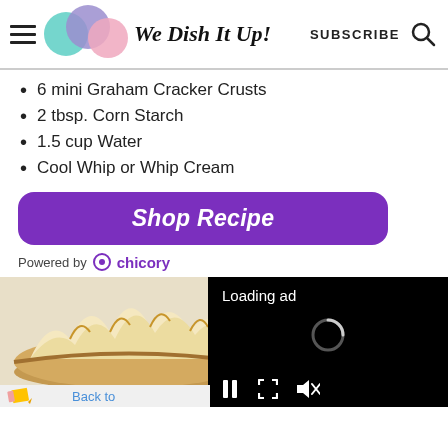We Dish It Up! — SUBSCRIBE
6 mini Graham Cracker Crusts
2 tbsp. Corn Starch
1.5 cup Water
Cool Whip or Whip Cream
Shop Recipe
Powered by chicory
[Figure (photo): Meringue pie photo with pencil and Back to link below]
[Figure (screenshot): Loading ad overlay with spinner and playback controls on black background]